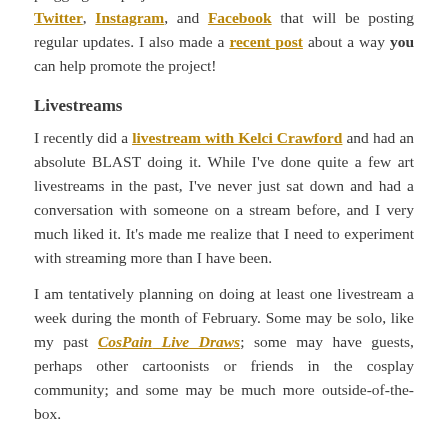follow my social media accounts, which will be shamelessly plugging this project for the next month! I have accounts on Twitter, Instagram, and Facebook that will be posting regular updates. I also made a recent post about a way you can help promote the project!
Livestreams
I recently did a livestream with Kelci Crawford and had an absolute BLAST doing it. While I've done quite a few art livestreams in the past, I've never just sat down and had a conversation with someone on a stream before, and I very much liked it. It's made me realize that I need to experiment with streaming more than I have been.
I am tentatively planning on doing at least one livestream a week during the month of February. Some may be solo, like my past CosPain Live Draws; some may have guests, perhaps other cartoonists or friends in the cosplay community; and some may be much more outside-of-the-box.